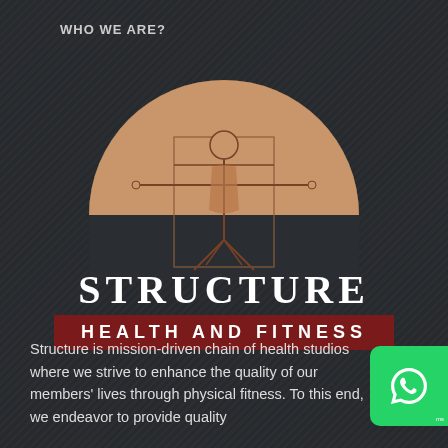WHO WE ARE?
[Figure (logo): Structure Health and Fitness logo featuring the Vitruvian Man illustration in sepia tones within a semicircle, with 'STRUCTURE' in white serif text and 'HEALTH AND FITNESS' in white text on a dark red banner]
Structure is mission-driven chain of health studios where we strive to enhance the quality of our members' lives through physical fitness. To this end, we endeavor to provide quality